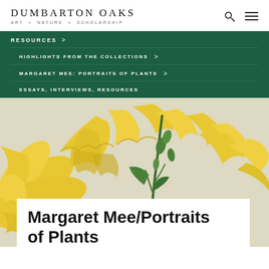DUMBARTON OAKS
ART • NATURE • SCHOLARSHIP
RESOURCES >
HIGHLIGHTS FROM THE COLLECTIONS >
MARGARET MEE: PORTRAITS OF PLANTS >
ESSAYS, INTERVIEWS, RESOURCES
[Figure (illustration): Botanical illustration of yellow trumpet-shaped flowers with green buds and dark stem against a beige background]
Margaret Mee/Portraits of Plants